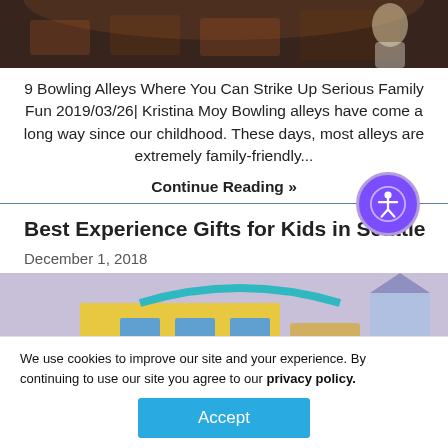[Figure (photo): Dark restaurant/bowling alley scene with people at tables]
9 Bowling Alleys Where You Can Strike Up Serious Family Fun 2019/03/26| Kristina Moy Bowling alleys have come a long way since our childhood. These days, most alleys are extremely family-friendly...
Continue Reading »
Best Experience Gifts for Kids in Seattle
December 1, 2018
[Figure (photo): Colorful amusement/family entertainment center building exterior with castle turret]
We use cookies to improve our site and your experience. By continuing to use our site you agree to our privacy policy.
Accept